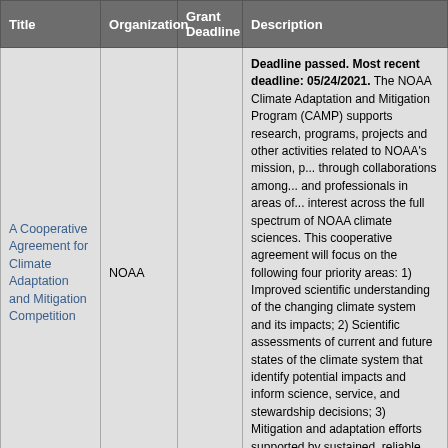| Title | Organization | Grant Deadline | Description |
| --- | --- | --- | --- |
| A Cooperative Agreement for Climate Adaptation and Mitigation Competition | NOAA |  | Deadline passed. Most recent deadline: 05/24/2021. The NOAA Climate Adaptation and Mitigation Program (CAMP) supports research, programs, projects and other activities related to NOAA's mission, p... through collaborations among... and professionals in areas of... interest across the full spectrum of NOAA climate sciences. This cooperative agreement will focus on the following four priority areas: 1) Improved scientific understanding of the changing climate system and its impacts; 2) Scientific assessments of current and future states of the climate system that identify potential impacts and inform science, service, and stewardship decisions; 3) Mitigation and adaptation efforts supported by sustained, reliable, and timely services; 4) A climate-literate... |